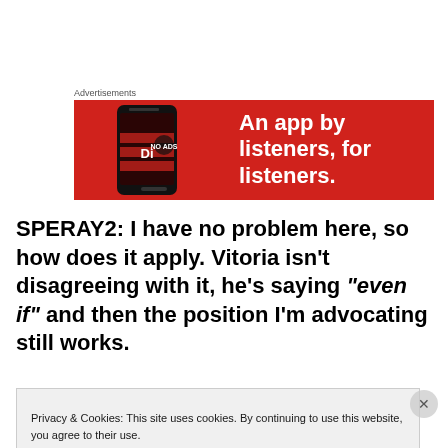Advertisements
[Figure (illustration): Red advertisement banner showing a smartphone with 'Dish' app and text 'An app by listeners, for listeners.']
SPERAY2: I have no problem here, so how does it apply. Vitoria isn't disagreeing with it, he's saying "even if" and then the position I'm advocating still works.
Privacy & Cookies: This site uses cookies. By continuing to use this website, you agree to their use.
To find out more, including how to control cookies, see here: Cookie Policy
Close and accept